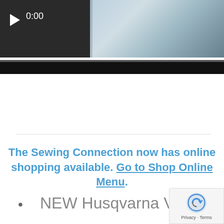[Figure (screenshot): Video player bar showing a play button, time display '0:00', a progress bar, and a partial thumbnail of a sewing machine in a home setting.]
The Sewing Connection now has online shopping available. Go to Shop Online Menu.
NEW Husqvarna Vikin…